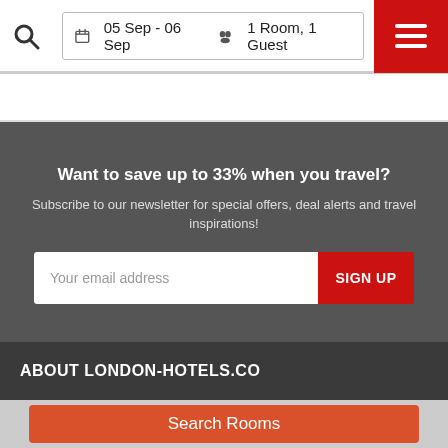05 Sep - 06 Sep  1 Room, 1 Guest
Want to save up to 33% when you travel?
Subscribe to our newsletter for special offers, deal alerts and travel inspirations!
Your email address
SIGN UP
ABOUT LONDON-HOTELS.CO
Search Rooms